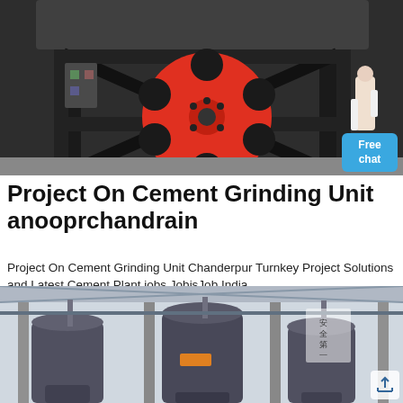[Figure (photo): Industrial cement grinding machine with red flywheel/pulley wheel on black steel frame structure, person visible in background on right side]
Project On Cement Grinding Unit anooprchandrain
Project On Cement Grinding Unit Chanderpur Turnkey Project Solutions and Latest Cement Plant jobs JobisJob India
Shop now
[Figure (photo): Industrial factory interior with large cylindrical grinding mill equipment and overhead steel structure]